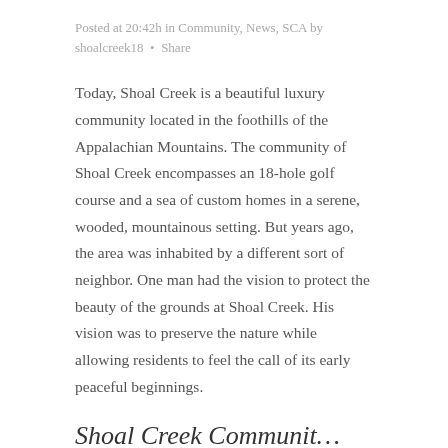Posted at 20:42h in Community, News, SCA by shoalcreek18 · Share
Today, Shoal Creek is a beautiful luxury community located in the foothills of the Appalachian Mountains. The community of Shoal Creek encompasses an 18-hole golf course and a sea of custom homes in a serene, wooded, mountainous setting. But years ago, the area was inhabited by a different sort of neighbor. One man had the vision to protect the beauty of the grounds at Shoal Creek. His vision was to preserve the nature while allowing residents to feel the call of its early peaceful beginnings.
Shoal Creek Communit…